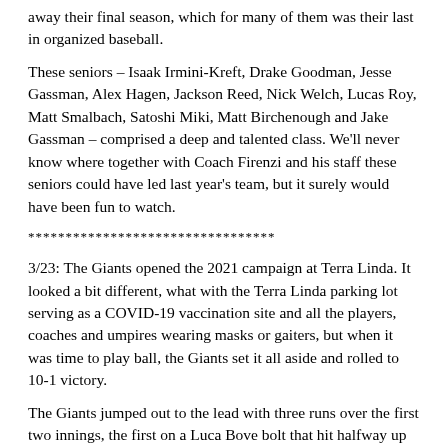away their final season, which for many of them was their last in organized baseball.
These seniors – Isaak Irmini-Kreft, Drake Goodman, Jesse Gassman, Alex Hagen, Jackson Reed, Nick Welch, Lucas Roy, Matt Smalbach, Satoshi Miki, Matt Birchenough and Jake Gassman – comprised a deep and talented class. We'll never know where together with Coach Firenzi and his staff these seniors could have led last year's team, but it surely would have been fun to watch.
*********************************
3/23: The Giants opened the 2021 campaign at Terra Linda. It looked a bit different, what with the Terra Linda parking lot serving as a COVID-19 vaccination site and all the players, coaches and umpires wearing masks or gaiters, but when it was time to play ball, the Giants set it all aside and rolled to 10-1 victory.
The Giants jumped out to the lead with three runs over the first two innings, the first on a Luca Bove bolt that hit halfway up the fence in right center to plate leadoff man Cole McGowan. McGowan singled in Rex Solle in the second.
Mikey Bender took the opening day start for the Giants. After